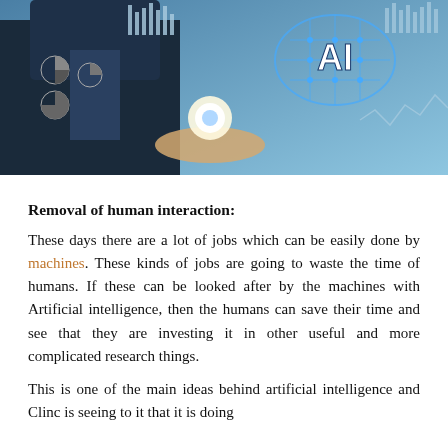[Figure (photo): A businessman in a suit holding out his hand with a glowing AI brain circuit board hologram above it, surrounded by digital data charts and graphs in a blue-toned tech environment. The letters 'AI' are prominently displayed in white on a circuit-board brain graphic.]
Removal of human interaction:
These days there are a lot of jobs which can be easily done by machines. These kinds of jobs are going to waste the time of humans. If these can be looked after by the machines with Artificial intelligence, then the humans can save their time and see that they are investing it in other useful and more complicated research things.
This is one of the main ideas behind artificial intelligence and Clinc is seeing to it that it is doing